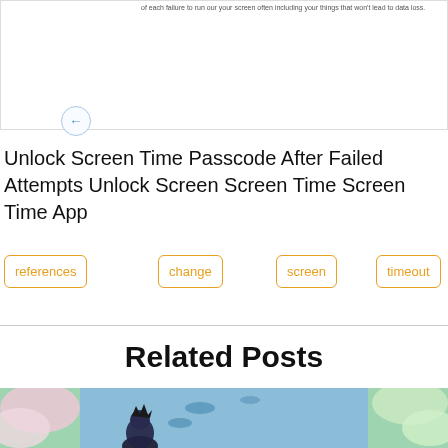[Figure (screenshot): Screenshot of a mobile interface showing a back arrow button and some small text about data loss warning]
Unlock Screen Time Passcode After Failed Attempts Unlock Screen Screen Time Screen Time App
references
change
screen
timeout
Related Posts
[Figure (photo): Anime illustration showing characters in a scene with flowers and water]